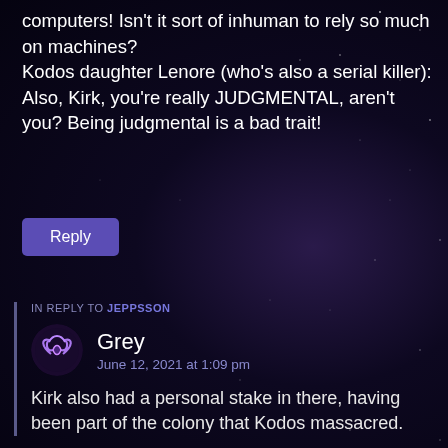computers! Isn't it sort of inhuman to rely so much on machines? Kodos daughter Lenore (who's also a serial killer): Also, Kirk, you're really JUDGMENTAL, aren't you? Being judgmental is a bad trait!
Reply
IN REPLY TO JEPPSSON
Grey
June 12, 2021 at 1:09 pm
Kirk also had a personal stake in there, having been part of the colony that Kodos massacred.